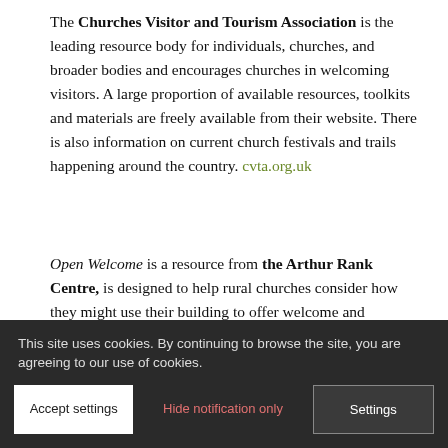The Churches Visitor and Tourism Association is the leading resource body for individuals, churches, and broader bodies and encourages churches in welcoming visitors. A large proportion of available resources, toolkits and materials are freely available from their website. There is also information on current church festivals and trails happening around the country. cvta.org.uk
Open Welcome is a resource from the Arthur Rank Centre, is designed to help rural churches consider how they might use their building to offer welcome and hospitality to those in their community, both residents and visitors. arthurrankcentre.org.uk/mission/open-welcome
The Diocese of London has produced an Open Churches Toolkit. While obviously aimed at London city churches, it covers aspects of church. london.anglican.org/support/buildings-and-...
This site uses cookies. By continuing to browse the site, you are agreeing to our use of cookies.